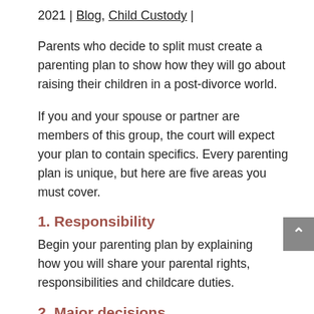2021 | Blog, Child Custody |
Parents who decide to split must create a parenting plan to show how they will go about raising their children in a post-divorce world.
If you and your spouse or partner are members of this group, the court will expect your plan to contain specifics. Every parenting plan is unique, but here are five areas you must cover.
1. Responsibility
Begin your parenting plan by explaining how you will share your parental rights, responsibilities and childcare duties.
2. Major decisions
The court will want to know which of you will take charge of making major decisions on behalf of the